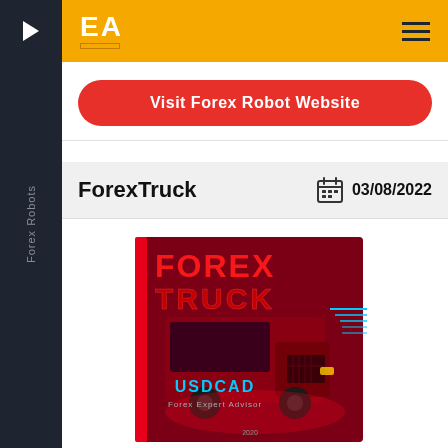EA | Forex Robots
Visit Forex Robot Website
ForexTruck
03/08/2022
[Figure (illustration): ForexTruck product cover image showing a red semi-truck with neon blue accents, text reading FOREX TRUCK, USDCAD, Forex Expert Advisor, 2020]